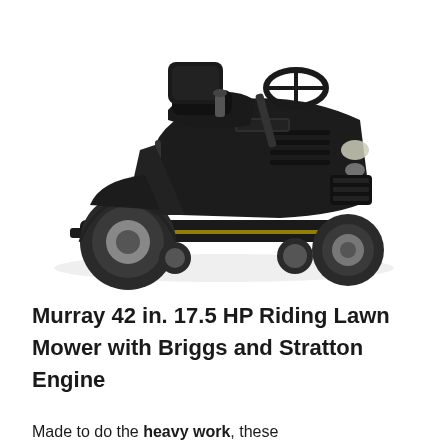[Figure (photo): Black Murray riding lawn mower tractor with 42-inch deck, large rear tires, steering wheel, and seat, shown from a front-left angle on a white background.]
Murray 42 in. 17.5 HP Riding Lawn Mower with Briggs and Stratton Engine
Made to do the heavy work, these